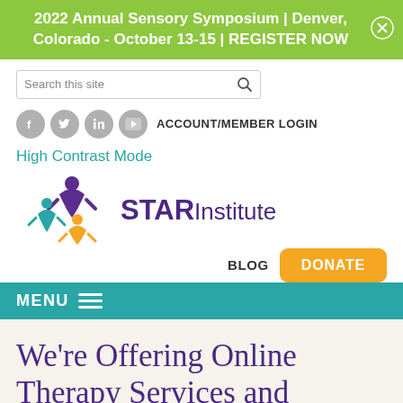2022 Annual Sensory Symposium | Denver, Colorado - October 13-15 | REGISTER NOW
[Figure (screenshot): Search box with placeholder text 'Search this site' and a magnifying glass icon]
ACCOUNT/MEMBER LOGIN
High Contrast Mode
[Figure (logo): STAR Institute logo with colorful figures and purple/teal text]
BLOG
DONATE
MENU
We're Offering Online Therapy Services and